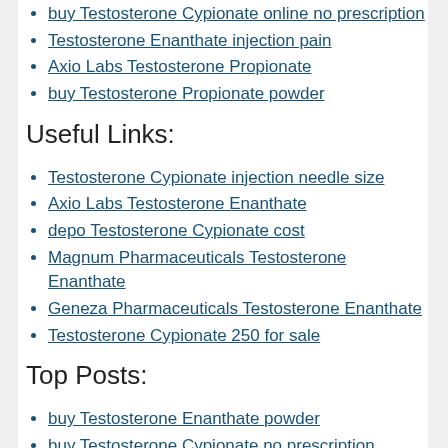buy Testosterone Cypionate online no prescription
Testosterone Enanthate injection pain
Axio Labs Testosterone Propionate
buy Testosterone Propionate powder
Useful Links:
Testosterone Cypionate injection needle size
Axio Labs Testosterone Enanthate
depo Testosterone Cypionate cost
Magnum Pharmaceuticals Testosterone Enanthate
Geneza Pharmaceuticals Testosterone Enanthate
Testosterone Cypionate 250 for sale
Top Posts:
buy Testosterone Enanthate powder
buy Testosterone Cypionate no prescription